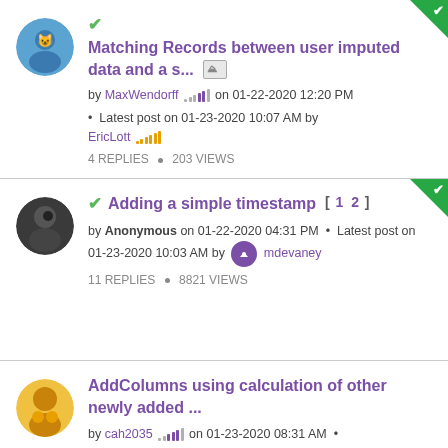Matching Records between user imputed data and a s... [image icon] by MaxWendorff on 01-22-2020 12:20 PM · Latest post on 01-23-2020 10:07 AM by EricLott 4 REPLIES · 203 VIEWS
Adding a simple timestamp [ 1 2 ] by Anonymous on 01-22-2020 04:31 PM · Latest post on 01-23-2020 10:03 AM by mdevaney 11 REPLIES · 8821 VIEWS
AddColumns using calculation of other newly added ... by cah2035 on 01-23-2020 08:31 AM ·